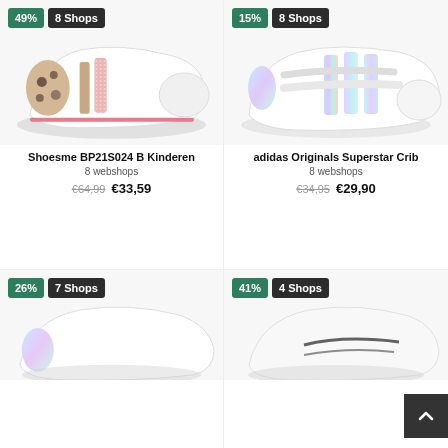[Figure (photo): Shoesme BP21S024 B Kinderen sneaker with glitter stripe and leopard print heel]
[Figure (photo): Adidas Originals Superstar Crib baby sneaker with iridescent stripes and velcro straps]
Shoesme BP21S024 B Kinderen
8 webshops
€64,99  €33,59
adidas Originals Superstar Crib
8 webshops
€34,95  €29,90
[Figure (photo): White sneaker with iridescent details, partially visible, 26% off badge, 7 Shops badge]
[Figure (photo): White child sneaker partially visible, 41% off badge, 4 Shops badge]